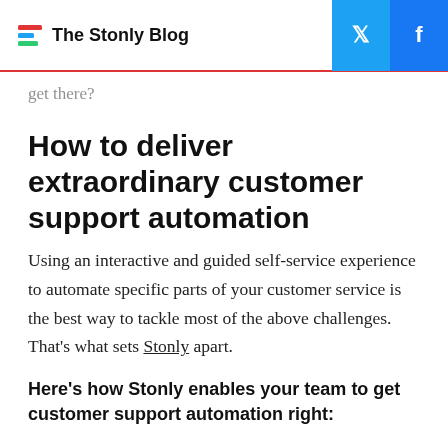The Stonly Blog
get there?
How to deliver extraordinary customer support automation
Using an interactive and guided self-service experience to automate specific parts of your customer service is the best way to tackle most of the above challenges. That's what sets Stonly apart.
Here's how Stonly enables your team to get customer support automation right:
Identify high-impact issues.